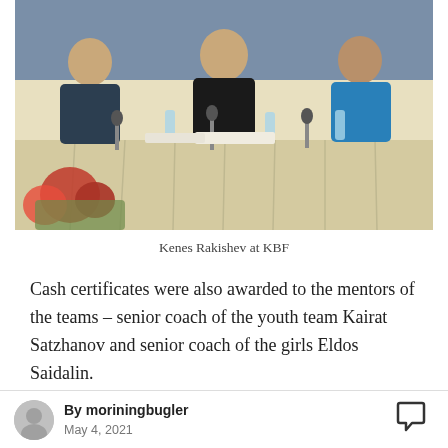[Figure (photo): Photo of Kenes Rakishev and others seated at a conference table with microphones, flowers in foreground and blue backdrop behind]
Kenes Rakishev at KBF
Cash certificates were also awarded to the mentors of the teams – senior coach of the youth team Kairat Satzhanov and senior coach of the girls Eldos Saidalin.
Kenes Rakishev is the president of the National Boxing Federation. As a head of the federation
By moriningbugler
May 4, 2021